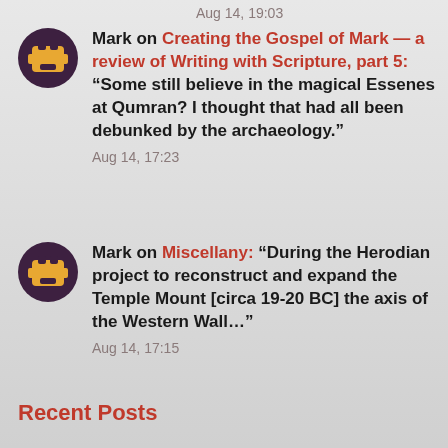Aug 14, 19:03
Mark on Creating the Gospel of Mark — a review of Writing with Scripture, part 5: “Some still believe in the magical Essenes at Qumran? I thought that had all been debunked by the archaeology.”
Aug 14, 17:23
Mark on Miscellany: “During the Herodian project to reconstruct and expand the Temple Mount [circa 19-20 BC] the axis of the Western Wall…”
Aug 14, 17:15
Recent Posts